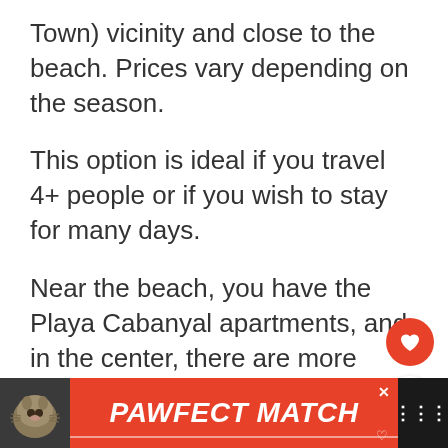Town) vicinity and close to the beach. Prices vary depending on the season.
This option is ideal if you travel 4+ people or if you wish to stay for many days.
Near the beach, you have the Playa Cabanyal apartments, and in the center, there are more options.
[Figure (other): Heart (favorite) button - red circular button with white heart icon]
[Figure (other): Share button - white circular button with share icon]
[Figure (other): What's Next promotional bar with thumbnail image of Avila Spain and text 'WHAT'S NEXT → Things to Do in Avila Spai...']
[Figure (other): Advertisement banner: PAWFECT MATCH with cat image on black/orange background with close button]